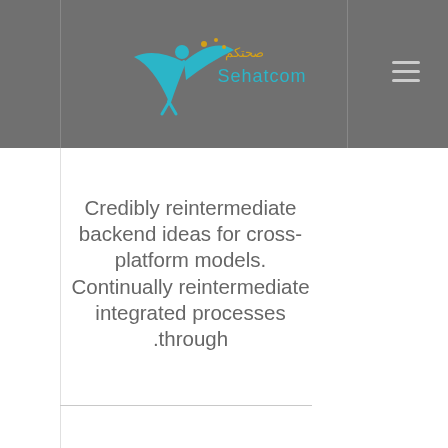Sehatcom
Credibly reintermediate backend ideas for cross-platform models. Continually reintermediate integrated processes .through